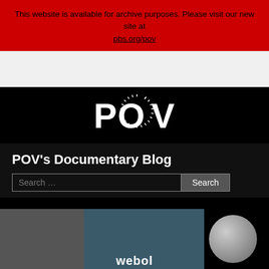This website is available for archive purposes. Please visit our new site at pbs.org/pov
[Figure (logo): POV logo in white on black background]
POV's Documentary Blog
Search ... [Search button]
[Figure (photo): Dark background with partial image showing gray block on left, blue-gray surface in center, a sphere on right, and partial text 'webol' at bottom]